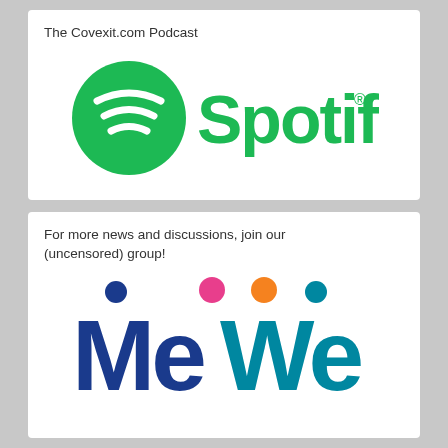The Covexit.com Podcast
[Figure (logo): Spotify logo: green circle with white sound wave bars and the word 'Spotify' in green with registered trademark symbol]
For more news and discussions, join our (uncensored) group!
[Figure (logo): MeWe logo: colorful dots (blue, pink, orange, teal) above the word 'MeWe' in dark blue and teal rounded font]